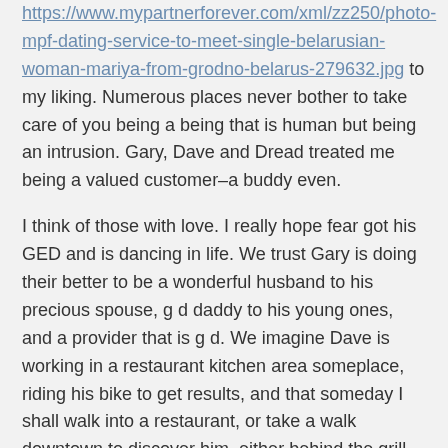https://www.mypartnerforever.com/xml/zz250/photo-mpf-dating-service-to-meet-single-belarusian-woman-mariya-from-grodno-belarus-279632.jpg to my liking. Numerous places never bother to take care of you being a being that is human but being an intrusion. Gary, Dave and Dread treated me being a valued customer–a buddy even.
I think of those with love. I really hope fear got his GED and is dancing in life. We trust Gary is doing their better to be a wonderful husband to his precious spouse, g d daddy to his young ones, and a provider that is g d. We imagine Dave is working in a restaurant kitchen area someplace, riding his bike to get results, and that someday I shall walk into a restaurant, or take a walk downtown to discover him, either behind the grill or the handlebars of their bicycle.
I really hope you will find a spot where they